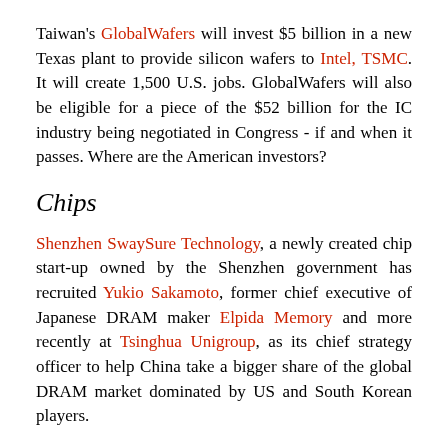Taiwan's GlobalWafers will invest $5 billion in a new Texas plant to provide silicon wafers to Intel, TSMC. It will create 1,500 U.S. jobs. GlobalWafers will also be eligible for a piece of the $52 billion for the IC industry being negotiated in Congress - if and when it passes. Where are the American investors?
Chips
Shenzhen SwaySure Technology, a newly created chip start-up owned by the Shenzhen government has recruited Yukio Sakamoto, former chief executive of Japanese DRAM maker Elpida Memory and more recently at Tsinghua Unigroup, as its chief strategy officer to help China take a bigger share of the global DRAM market dominated by US and South Korean players.
Samsung Foundry announced a massive investment plan of around $355 billion that could help it overthrow TSMC as the world's biggest chip fabrication firm. To counter those moves,